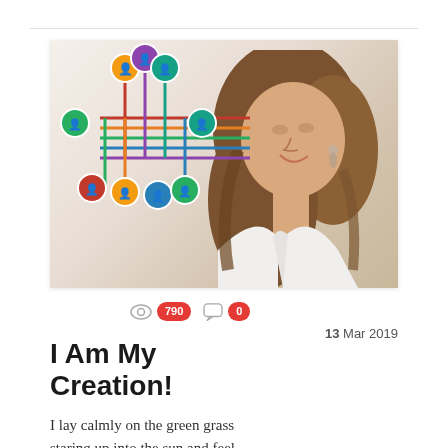[Figure (photo): Photo of a smiling woman with long brown hair wearing a white blazer, with a colorful network/social graph illustration overlaid on the upper left portion of the image.]
790 views, 0 comments, 13 Mar 2019
I Am My Creation!
I lay calmly on the green grass staring up into the sun and feel